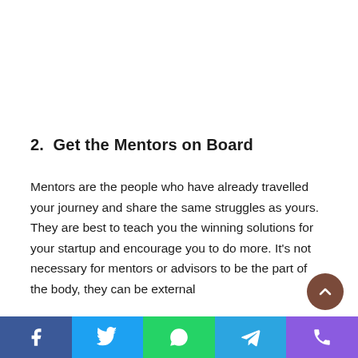2.  Get the Mentors on Board
Mentors are the people who have already travelled your journey and share the same struggles as yours. They are best to teach you the winning solutions for your startup and encourage you to do more. It's not necessary for mentors or advisors to be the part of the body, they can be external